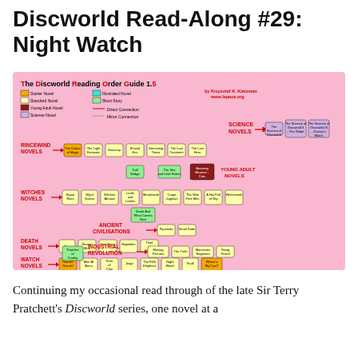Discworld Read-Along #29: Night Watch
[Figure (flowchart): The Discworld Reading Order Guide 1.5 by Krzysztof K. Kietzman, www.lspace.org — a flowchart showing reading order of Discworld novels organized into series: Rincewind Novels, Witches Novels, Death Novels, Watch Novels, Ancient Civilisations, Industrial Revolution, Science Novels, Young Adult Novels, with color-coded boxes and arrows.]
Continuing my occasional read through of the late Sir Terry Pratchett's Discworld series, one novel at a time.